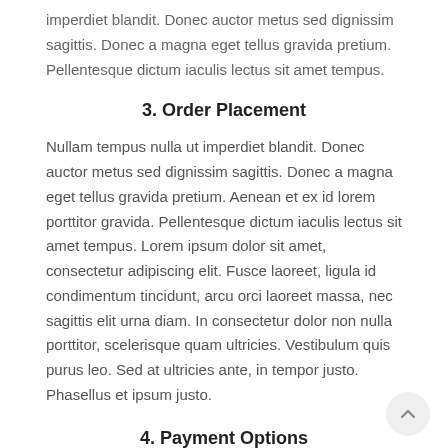imperdiet blandit. Donec auctor metus sed dignissim sagittis. Donec a magna eget tellus gravida pretium. Pellentesque dictum iaculis lectus sit amet tempus.
3. Order Placement
Nullam tempus nulla ut imperdiet blandit. Donec auctor metus sed dignissim sagittis. Donec a magna eget tellus gravida pretium. Aenean et ex id lorem porttitor gravida. Pellentesque dictum iaculis lectus sit amet tempus. Lorem ipsum dolor sit amet, consectetur adipiscing elit. Fusce laoreet, ligula id condimentum tincidunt, arcu orci laoreet massa, nec sagittis elit urna diam. In consectetur dolor non nulla porttitor, scelerisque quam ultricies. Vestibulum quis purus leo. Sed at ultricies ante, in tempor justo. Phasellus et ipsum justo.
4. Payment Options
We accept the following payment methods: